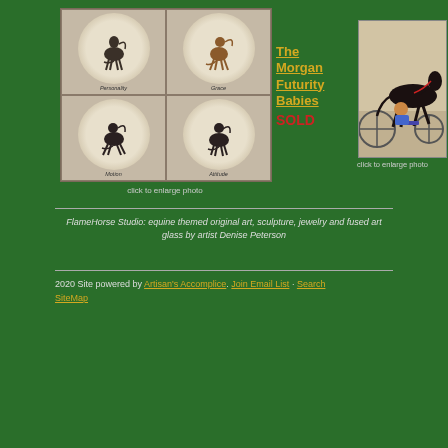[Figure (illustration): 2x2 grid collage of four Morgan horse illustrations in circular frames, labeled Personality, Grace, Motion, Attitude on a sandy/beige background]
click to enlarge photo
The Morgan Futurity Babies SOLD
[Figure (illustration): Painting of a black harness racing horse pulling a sulky with a driver, colorful harness on sandy/beige background]
click to enlarge photo
FlameHorse Studio: equine themed  original art, sculpture, jewelry and fused art glass by artist Denise Peterson
2020 Site powered by Artisan's Accomplice. Join Email List · Search SiteMap